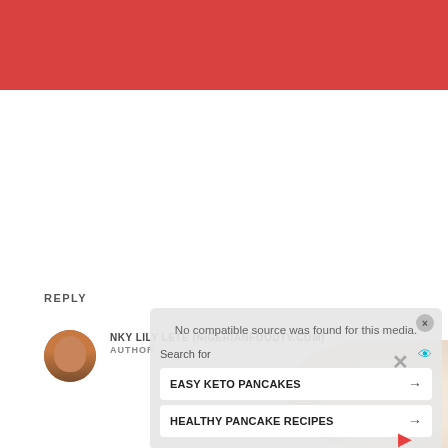[Figure (other): Red header bar at top of web page]
REPLY
[Figure (photo): Small circular avatar photo of a woman (author)]
NKY LILY LETE (NIGERIANFOODTV.COM)
AUTHOR
[Figure (screenshot): Ad overlay with video player message 'No compatible source was found for this media.' and search suggestions: 'EASY KETO PANCAKES' and 'HEALTHY PANCAKE RECIPES']